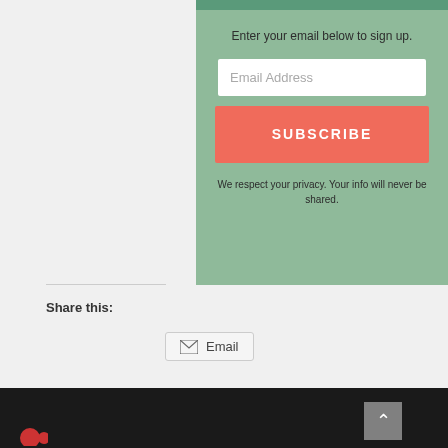Enter your email below to sign up.
Email Address
SUBSCRIBE
We respect your privacy. Your info will never be shared.
Share this:
Email
Posted in Health